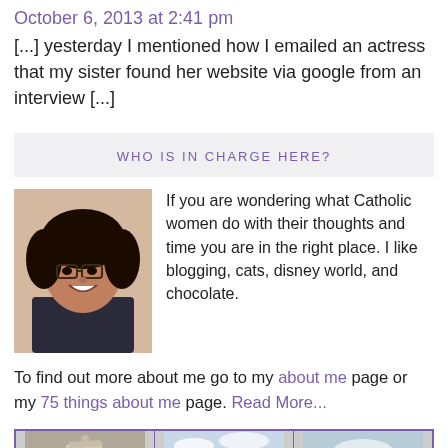October 6, 2013 at 2:41 pm
[...] yesterday I mentioned how I emailed an actress that my sister found her website via google from an interview [...]
WHO IS IN CHARGE HERE?
[Figure (photo): Profile photo of a young woman with dark curly hair and glasses, smiling, wearing a dark top]
If you are wondering what Catholic women do with their thoughts and time you are in the right place. I like blogging, cats, disney world, and chocolate.
To find out more about me go to my about me page or my 75 things about me page. Read More...
[Figure (photo): Bottom strip of three small thumbnail photos with purple border]